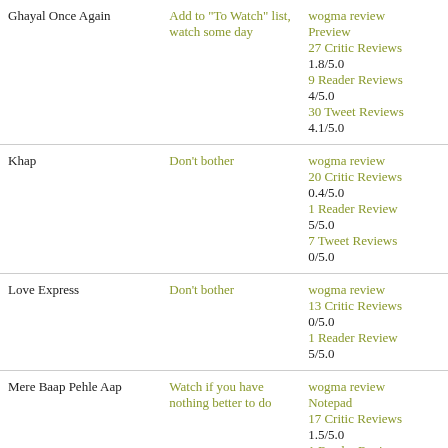| Movie | Verdict | Reviews |
| --- | --- | --- |
| Ghayal Once Again | Add to "To Watch" list, watch some day | wogma review
Preview
27 Critic Reviews
1.8/5.0
9 Reader Reviews
4/5.0
30 Tweet Reviews
4.1/5.0 |
| Khap | Don't bother | wogma review
20 Critic Reviews
0.4/5.0
1 Reader Review
5/5.0
7 Tweet Reviews
0/5.0 |
| Love Express | Don't bother | wogma review
13 Critic Reviews
0/5.0
1 Reader Review
5/5.0 |
| Mere Baap Pehle Aap | Watch if you have nothing better to do | wogma review
Notepad
17 Critic Reviews
1.5/5.0
1 Reader Review
5/5.0 |
| Road To Sangam | Watch, but no rush | wogma review |